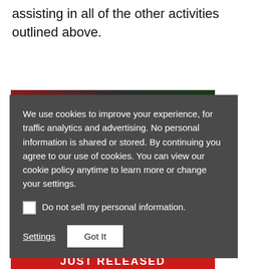assisting in all of the other activities outlined above.
[Figure (screenshot): Partial view of a book cover with dark red, black, and dark green colors, and a red banner at the bottom reading 'JUST RELEASED' in white bold letters.]
We use cookies to improve your experience, for traffic analytics and advertising. No personal information is shared or stored. By continuing you agree to our use of cookies. You can view our cookie policy anytime to learn more or change your settings.
Do not sell my personal information.
Settings  Got It